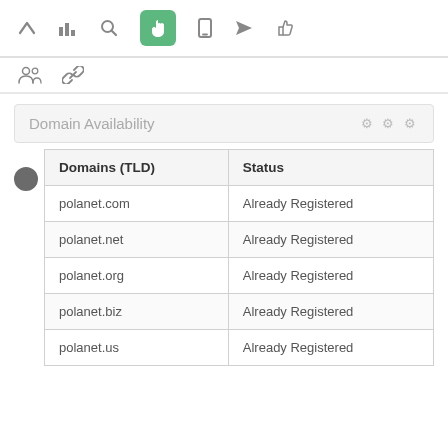[Figure (screenshot): Top navigation toolbar with icons: up arrow, bar chart, search, green hand/touch (active), mobile, send, thumbs up]
[Figure (screenshot): Second toolbar row with group/people icon and link icon]
Domain Availability
| Domains (TLD) | Status |
| --- | --- |
| polanet.com | Already Registered |
| polanet.net | Already Registered |
| polanet.org | Already Registered |
| polanet.biz | Already Registered |
| polanet.us | Already Registered |